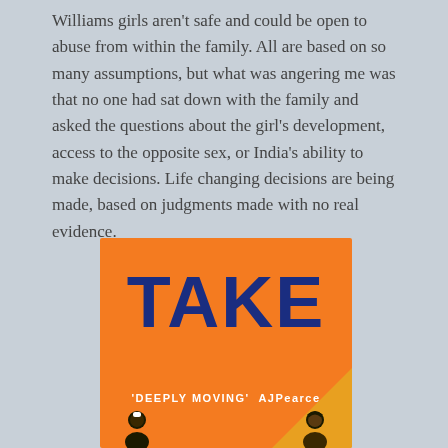Williams girls aren't safe and could be open to abuse from within the family. All are based on so many assumptions, but what was angering me was that no one had sat down with the family and asked the questions about the girl's development, access to the opposite sex, or India's ability to make decisions. Life changing decisions are being made, based on judgments made with no real evidence.
[Figure (illustration): Book cover for 'TAKE' on an orange background. The title 'TAKE' is displayed in large dark blue bold letters. Below the title is a quote reading 'DEEPLY MOVING' AJ Pearce. At the bottom are illustrated characters. There is an orange triangle in the bottom right corner.]